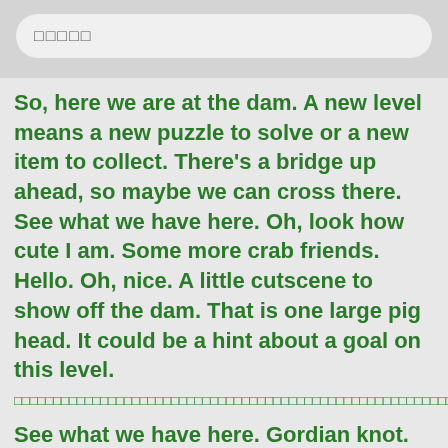□□□□□
So, here we are at the dam. A new level means a new puzzle to solve or a new item to collect. There's a bridge up ahead, so maybe we can cross there. See what we have here. Oh, look how cute I am. Some more crab friends. Hello. Oh, nice. A little cutscene to show off the dam. That is one large pig head. It could be a hint about a goal on this level.
□□□□□□□□□□□□□□□□□□□□□□□□□□□□□□□□□□□□□□□□□□□□□□□□□□□□□□□□□□□□□□□□□□□□□□□□□□□□□□□□□□□□□□□□□□□□□□□□□□□□□□□□□□□□□□□□□□□□□□□□□□□□□□□□□□□□□□□□□□□□□□□□□□□□□□□□□□□□□□□□□□□□□□□□□□□□□□□□□□□□□□□□□□
See what we have here. Gordian knot. Okay, so,